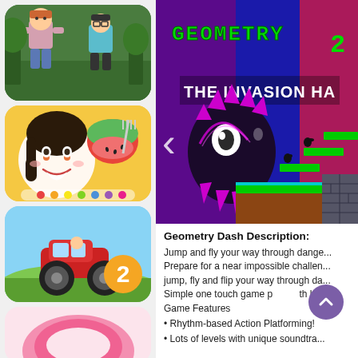[Figure (screenshot): Roblox game screenshot showing 3D characters in a park environment]
[Figure (screenshot): Toca Boca app icon showing cartoon girl with watermelon and fork on yellow background]
[Figure (screenshot): Hill Climb Racing 2 icon showing red monster truck on green hills with number 2]
[Figure (screenshot): Partial view of another app icon at bottom]
[Figure (screenshot): Geometry Dash 2 game screenshot showing The Invasion Has... text with dark monster character and neon colors]
Geometry Dash Description:
Jump and fly your way through dange... Prepare for a near impossible challen... jump, fly and flip your way through da... Simple one touch game p... th lots... Game Features
• Rhythm-based Action Platforming!
• Lots of levels with unique soundtra...